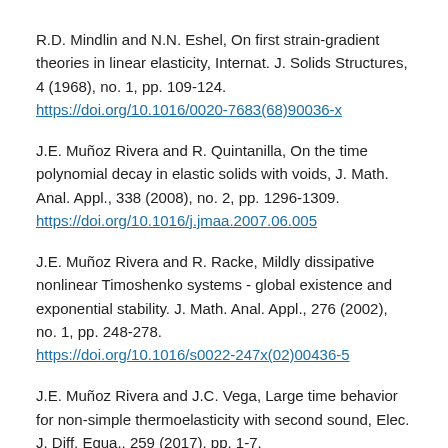R.D. Mindlin and N.N. Eshel, On first strain-gradient theories in linear elasticity, Internat. J. Solids Structures, 4 (1968), no. 1, pp. 109-124. https://doi.org/10.1016/0020-7683(68)90036-x
J.E. Muñoz Rivera and R. Quintanilla, On the time polynomial decay in elastic solids with voids, J. Math. Anal. Appl., 338 (2008), no. 2, pp. 1296-1309. https://doi.org/10.1016/j.jmaa.2007.06.005
J.E. Muñoz Rivera and R. Racke, Mildly dissipative nonlinear Timoshenko systems - global existence and exponential stability. J. Math. Anal. Appl., 276 (2002), no. 1, pp. 248-278. https://doi.org/10.1016/s0022-247x(02)00436-5
J.E. Muñoz Rivera and J.C. Vega, Large time behavior for non-simple thermoelasticity with second sound, Elec. J. Diff. Equa., 259 (2017), pp. 1-7.